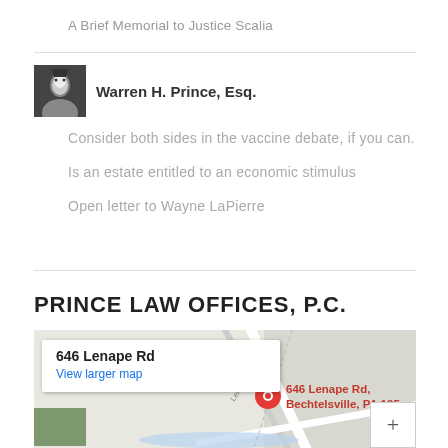A Brief Memorial to Justice Scalia
Warren H. Prince, Esq.
Consider both sides in the vaccine debate, if you can.
Is an estate entitled to an economic stimulus
Open letter to Wayne LaPierre
PRINCE LAW OFFICES, P.C.
[Figure (map): Google Map showing 646 Lenape Rd, Bechtelsville, PA 195 with a red map pin and popup showing address and View larger map link]